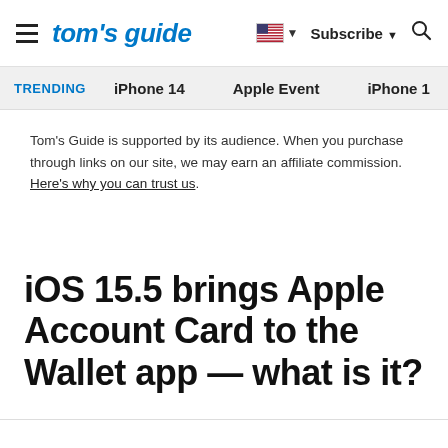tom's guide | Subscribe | Search
TRENDING  iPhone 14  Apple Event  iPhone 1
Tom's Guide is supported by its audience. When you purchase through links on our site, we may earn an affiliate commission. Here's why you can trust us.
iOS 15.5 brings Apple Account Card to the Wallet app — what is it?